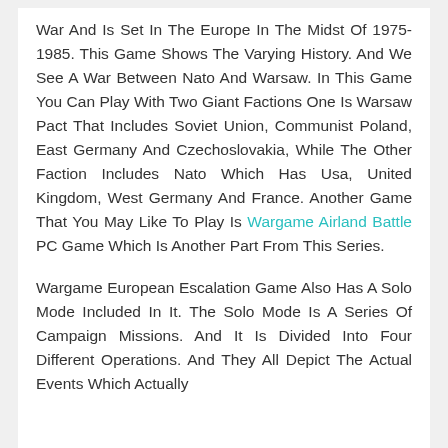War And Is Set In The Europe In The Midst Of 1975-1985. This Game Shows The Varying History. And We See A War Between Nato And Warsaw. In This Game You Can Play With Two Giant Factions One Is Warsaw Pact That Includes Soviet Union, Communist Poland, East Germany And Czechoslovakia, While The Other Faction Includes Nato Which Has Usa, United Kingdom, West Germany And France. Another Game That You May Like To Play Is Wargame Airland Battle PC Game Which Is Another Part From This Series.
Wargame European Escalation Game Also Has A Solo Mode Included In It. The Solo Mode Is A Series Of Campaign Missions. And It Is Divided Into Four Different Operations. And They All Depict The Actual Events Which Actually